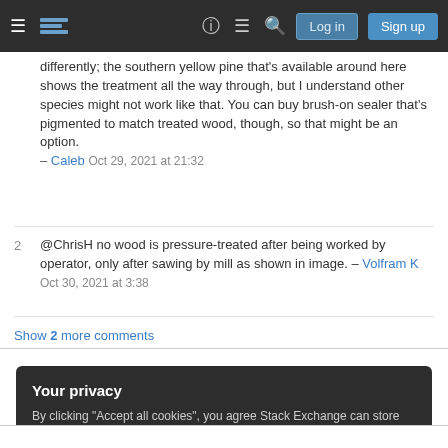Stack Exchange navigation bar with hamburger menu, logo, icons, Log in and Sign up buttons
differently; the southern yellow pine that's available around here shows the treatment all the way through, but I understand other species might not work like that. You can buy brush-on sealer that's pigmented to match treated wood, though, so that might be an option. – Caleb Oct 29, 2021 at 21:32
2 @ChrisH no wood is pressure-treated after being worked by operator, only after sawing by mill as shown in image. – Volfram K Oct 30, 2021 at 3:38
Show 2 more comments
Your privacy
By clicking "Accept all cookies", you agree Stack Exchange can store cookies on your device and disclose information in accordance with our Cookie Policy.
Accept all cookies
Customize settings